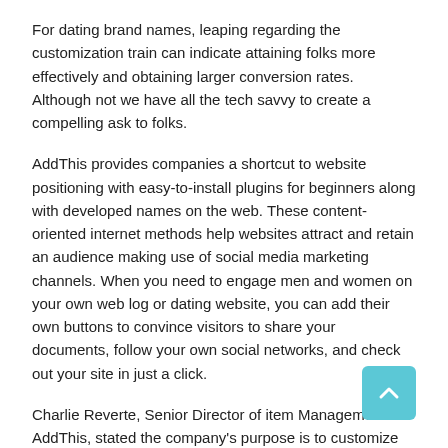For dating brand names, leaping regarding the customization train can indicate attaining folks more effectively and obtaining larger conversion rates. Although not we have all the tech savvy to create a compelling ask to folks.
AddThis provides companies a shortcut to website positioning with easy-to-install plugins for beginners along with developed names on the web. These content-oriented internet methods help websites attract and retain an audience making use of social media marketing channels. When you need to engage men and women on your own web log or dating website, you can add their own buttons to convince visitors to share your documents, follow your own social networks, and check out your site in just a click.
Charlie Reverte, Senior Director of item Management at AddThis, stated the company's purpose is to customize the web with simple methods. Their own forward-thinking team helps with sets from link advertising to social networking shares, growing on the web readers with plugins designed for ease of use.
The fundamental bundle of AddThis methods is free of charge regarding business seeking to boost web visitors and increase their own companies. Premium strategies are around for individuals who desire extra